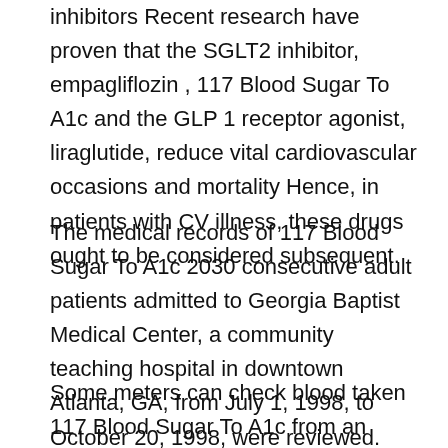inhibitors Recent research have proven that the SGLT2 inhibitor, empagliflozin , 117 Blood Sugar To A1c and the GLP 1 receptor agonist, liraglutide, reduce vital cardiovascular occasions and mortality Hence, in patients with CV illness, these drugs ought to be considered subsequent.
The medical records of 117 Blood Sugar To A1c 2030 consecutive adult patients admitted to Georgia Baptist Medical Center, a community teaching hospital in downtown Atlanta, GA, from July 1, 1998, to October 20, 1998, were reviewed.
Some meters can check blood taken 117 Blood Sugar To A1c from an alternate website, such as the forearm or palm But these readings may not be as